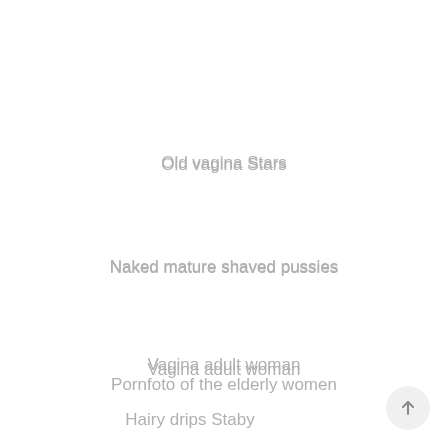Old vagina Stars
Naked mature shaved pussies
Vagina adult woman
Pornfoto of the elderly women
Hairy drips Staby